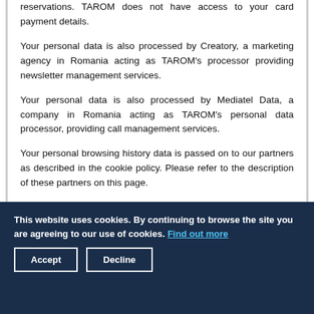reservations. TAROM does not have access to your card payment details.
Your personal data is also processed by Creatory, a marketing agency in Romania acting as TAROM's processor providing newsletter management services.
Your personal data is also processed by Mediatel Data, a company in Romania acting as TAROM's personal data processor, providing call management services.
Your personal browsing history data is passed on to our partners as described in the cookie policy. Please refer to the description of these partners on this page.
5. How long we keep your personal data
This website uses cookies. By continuing to browse the site you are agreeing to our use of cookies. Find out more
Accept   Decline